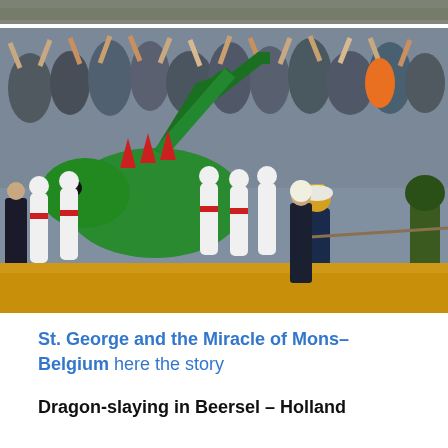[Figure (photo): Partial top strip of a crowd/event photo, cropped at top of page]
[Figure (photo): Crowd scene of St. George and the Miracle of Mons festival in Belgium — large crowd with arms raised, people in white costumes carrying a large green dragon prop, a figure in Roman armor with gold helmet in foreground, orange/golden ground surface]
St. George and the Miracle of Mons– Belgium here the story
Dragon-slaying in Beersel – Holland